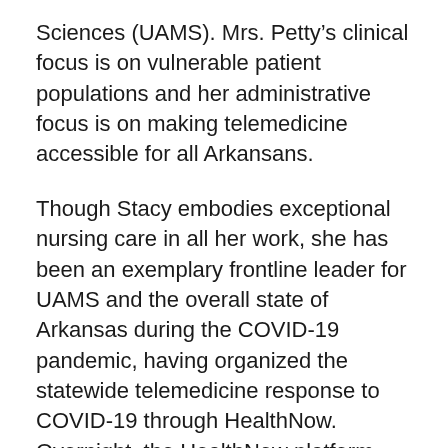Sciences (UAMS). Mrs. Petty's clinical focus is on vulnerable patient populations and her administrative focus is on making telemedicine accessible for all Arkansans.
Though Stacy embodies exceptional nursing care in all her work, she has been an exemplary frontline leader for UAMS and the overall state of Arkansas during the COVID-19 pandemic, having organized the statewide telemedicine response to COVID-19 through HealthNow. Overnight, the HealthNow platform, which launched only two months before, went from zero monthly COVID-19 screenings to at its most over 600. Stacy readily took on this new, challenging program and worked diligently to get it going, from tirelessly